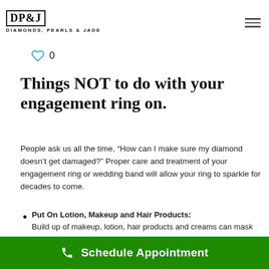DP&J Diamonds, Pearls & Jade
0
Things NOT to do with your engagement ring on.
People ask us all the time, “How can I make sure my diamond doesn’t get damaged?” Proper care and treatment of your engagement ring or wedding band will allow your ring to sparkle for decades to come.
Put On Lotion, Makeup and Hair Products: Build up of makeup, lotion, hair products and creams can mask the brilliance of the diamonds in your ring. Hairspray and some hair chemicals can eat away at gold and also dull the surface of diamonds and gemstones.
Schedule Appointment